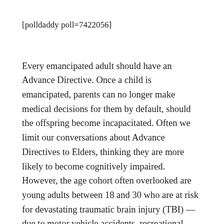[polldaddy poll=7422056]
Every emancipated adult should have an Advance Directive. Once a child is emancipated, parents can no longer make medical decisions for them by default, should the offspring become incapacitated. Often we limit our conversations about Advance Directives to Elders, thinking they are more likely to become cognitively impaired. However, the age cohort often overlooked are young adults between 18 and 30 who are at risk for devastating traumatic brain injury (TBI) — due to motor vehicle accidents, recreational accidents or substance abuse.